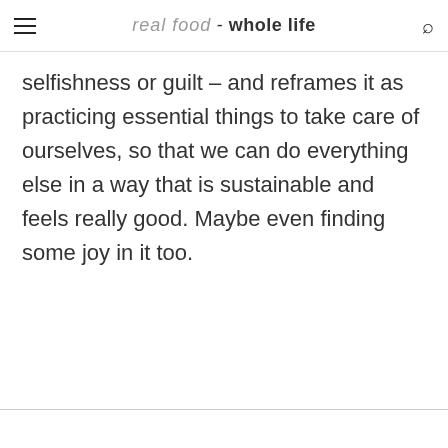real food - whole life
selfishness or guilt – and reframes it as practicing essential things to take care of ourselves, so that we can do everything else in a way that is sustainable and feels really good. Maybe even finding some joy in it too.